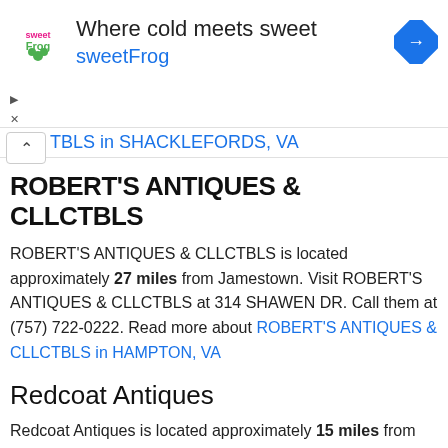[Figure (screenshot): sweetFrog advertisement banner with logo, tagline 'Where cold meets sweet', brand name 'sweetFrog', and navigation arrow icon]
TBLS in SHACKLEFORDS, VA
ROBERT'S ANTIQUES & CLLCTBLS
ROBERT'S ANTIQUES & CLLCTBLS is located approximately 27 miles from Jamestown. Visit ROBERT'S ANTIQUES & CLLCTBLS at 314 SHAWEN DR. Call them at (757) 722-0222. Read more about ROBERT'S ANTIQUES & CLLCTBLS in HAMPTON, VA
Redcoat Antiques
Redcoat Antiques is located approximately 15 miles from Jamestown. A friendly Antique Store. You can call them at (757) 868-1468.